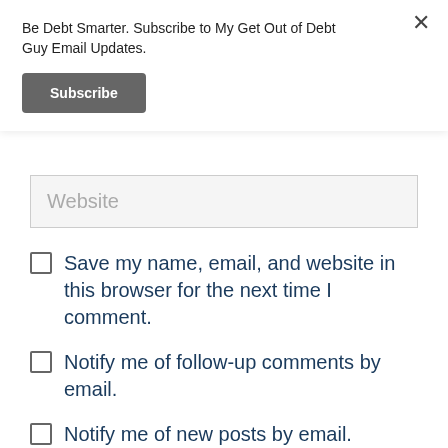Be Debt Smarter. Subscribe to My Get Out of Debt Guy Email Updates.
Subscribe
Website
Save my name, email, and website in this browser for the next time I comment.
Notify me of follow-up comments by email.
Notify me of new posts by email.
Post Comment